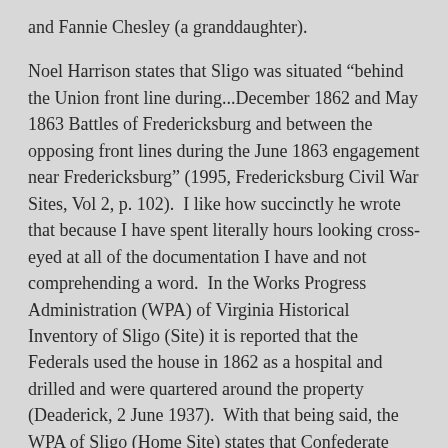and Fannie Chesley (a granddaughter).
Noel Harrison states that Sligo was situated “behind the Union front line during...December 1862 and May 1863 Battles of Fredericksburg and between the opposing front lines during the June 1863 engagement near Fredericksburg” (1995, Fredericksburg Civil War Sites, Vol 2, p. 102).  I like how succinctly he wrote that because I have spent literally hours looking cross-eyed at all of the documentation I have and not comprehending a word.  In the Works Progress Administration (WPA) of Virginia Historical Inventory of Sligo (Site) it is reported that the Federals used the house in 1862 as a hospital and drilled and were quartered around the property (Deaderick, 2 June 1937).  With that being said, the WPA of Sligo (Home Site) states that Confederate soldiers were quartered in the house during December 1862 (Deaderick, 14 June 1937).  So, I guess no matter which way you look at it, Sligo was